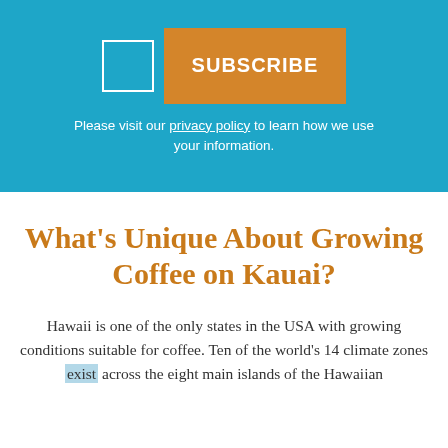[Figure (screenshot): Blue subscription banner with email input box and orange SUBSCRIBE button]
Please visit our privacy policy to learn how we use your information.
What's Unique About Growing Coffee on Kauai?
Hawaii is one of the only states in the USA with growing conditions suitable for coffee. Ten of the world's 14 climate zones exist across the eight main islands of the Hawaiian